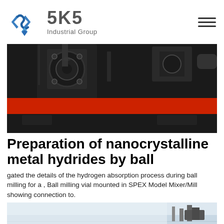[Figure (logo): SKS Industrial Group logo with blue angular S-shaped icon and grey SKS text with Industrial Group subtitle]
[Figure (photo): Close-up photo of a ball milling machine with black metallic components and red horizontal band visible]
Preparation of nanocrystalline metal hydrides by ball
gated the details of the hydrogen absorption process during ball milling for a , Ball milling vial mounted in SPEX Model Mixer/Mill showing connection to.
[Figure (photo): Partial bottom photo showing industrial/outdoor equipment scene with light background]